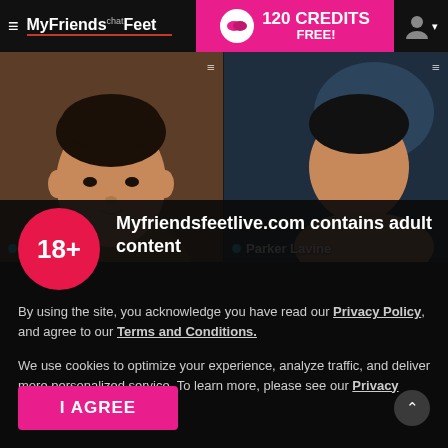MyFriendsFeet chat — 120 CREDITS FREE!
[Figure (screenshot): Two preview panels showing performers: Klayton Ryu (left) and Parker Lavine (right)]
Myfriendsfeetlive.com contains adult content
By using the site, you acknowledge you have read our Privacy Policy, and agree to our Terms and Conditions.
We use cookies to optimize your experience, analyze traffic, and deliver more personalized service. To learn more, please see our Privacy Policy.
I AGREE